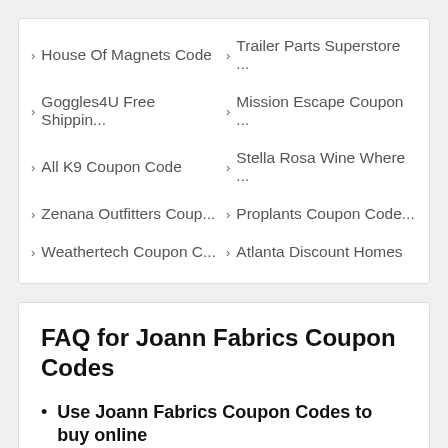House Of Magnets Code
Trailer Parts Superstore ...
Goggles4U Free Shippin...
Mission Escape Coupon ...
All K9 Coupon Code
Stella Rosa Wine Where ...
Zenana Outfitters Coup...
Proplants Coupon Code...
Weathertech Coupon C...
Atlanta Discount Homes
FAQ for Joann Fabrics Coupon Codes
Use Joann Fabrics Coupon Codes to buy online
Our website lists all valid Joann Fabrics Coupon Codes and other special offers on a single page.